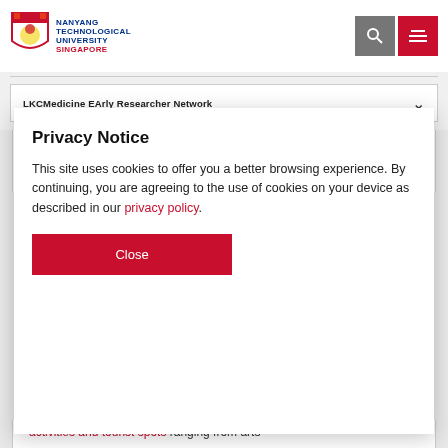[Figure (logo): Nanyang Technological University Singapore logo with lion shield emblem and text]
NANYANG TECHNOLOGICAL UNIVERSITY SINGAPORE
LKCMedicine EArly Researcher Network
Singapore can largely be categorised as public (HDB) and private housing (condominiums). Do
Privacy Notice
This site uses cookies to offer you a better browsing experience. By continuing, you are agreeing to the use of cookies on your device as described in our privacy policy.
Close
activities and tourist spots ranging from arts